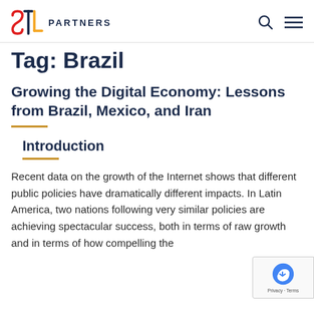STL PARTNERS
Tag: Brazil
Growing the Digital Economy: Lessons from Brazil, Mexico, and Iran
Introduction
Recent data on the growth of the Internet shows that different public policies have dramatically different impacts. In Latin America, two nations following very similar policies are achieving spectacular success, both in terms of raw growth and in terms of how compelling the